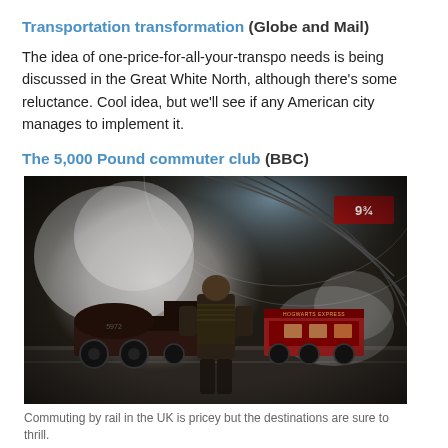Transportation transformation (Globe and Mail)
The idea of one-price-for-all-your-transpo needs is being discussed in the Great White North, although there’s some reluctance. Cool idea, but we’ll see if any American city manages to implement it.
The 5,000 Pound commuter club (BBC)
[Figure (photo): A person standing on a train platform looking at a steam locomotive with smoke billowing, inside a large arched station. Appears to be a scene from a movie or historical photograph.]
Commuting by rail in the UK is pricey but the destinations are sure to thrill.